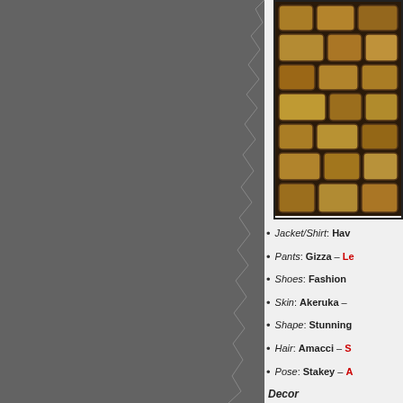[Figure (photo): Partial view of a brick or tile floor texture, brown/gold colored, partially visible on the right side of the page]
Jacket/Shirt: Hav[truncated]
Pants: Gizza – Le[truncated]
Shoes: Fashion [truncated]
Skin: Akeruka – [truncated]
Shape: Stunning[truncated]
Hair: Amacci – S[truncated]
Pose: Stakey – A[truncated]
Decor
Speakers: Kussh[truncated]
Poker decor: Tart[truncated]
Tabl/Decor A[truncated]